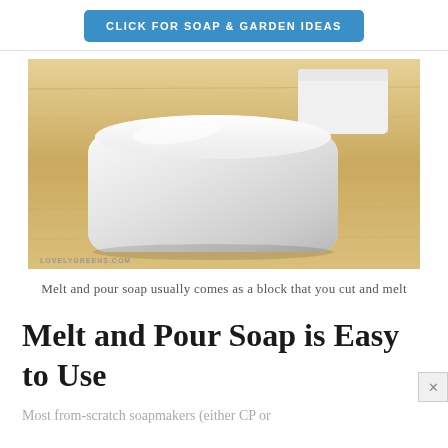CLICK FOR SOAP & GARDEN IDEAS
[Figure (photo): A white melt and pour soap block sitting on a wooden cutting board, with another white container visible in the background. Watermark reads LOVELYGREENS.COM]
Melt and pour soap usually comes as a block that you cut and melt
Melt and Pour Soap is Easy to Use
Most from-scratch soapmakers (either CP or